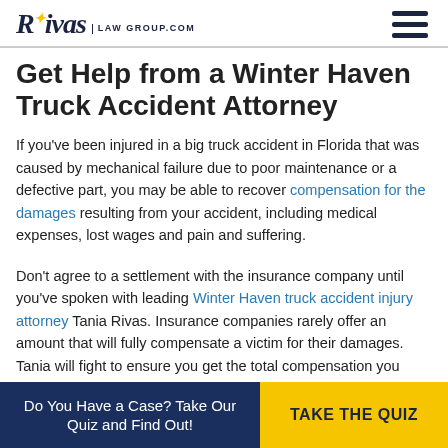Rivas Law Group.com
Get Help from a Winter Haven Truck Accident Attorney
If you’ve been injured in a big truck accident in Florida that was caused by mechanical failure due to poor maintenance or a defective part, you may be able to recover compensation for the damages resulting from your accident, including medical expenses, lost wages and pain and suffering.
Don’t agree to a settlement with the insurance company until you’ve spoken with leading Winter Haven truck accident injury attorney Tania Rivas. Insurance companies rarely offer an amount that will fully compensate a victim for their damages. Tania will fight to ensure you get the total compensation you deserve — not just the losses you
Do You Have a Case? Take Our Quiz and Find Out! | TAKE THE QUIZ